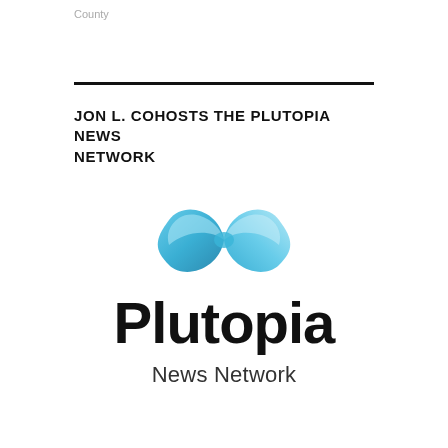County
JON L. COHOSTS THE PLUTOPIA NEWS NETWORK
[Figure (logo): Plutopia News Network logo: a blue infinity-loop ribbon above the word 'Plutopia' in bold black text, with 'News Network' in lighter text below]